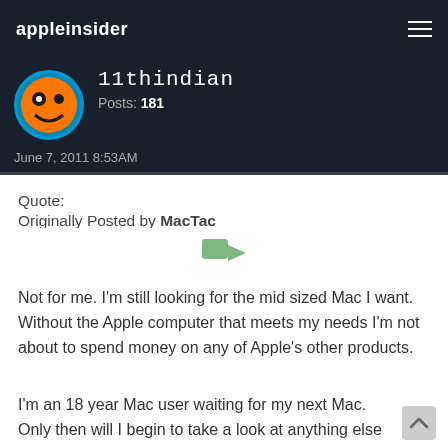appleinsider
11thindian
Posts: 181
June 7, 2011 8:53AM
Quote:
Originally Posted by MacTac
Not for me. I'm still looking for the mid sized Mac I want. Without the Apple computer that meets my needs I'm not about to spend money on any of Apple's other products.
I'm an 18 year Mac user waiting for my next Mac. Only then will I begin to take a look at anything else from Apple.